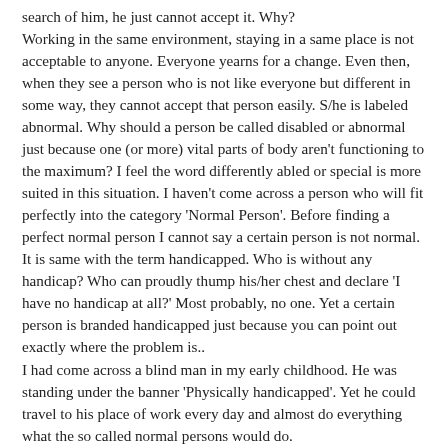search of him, he just cannot accept it. Why? Working in the same environment, staying in a same place is not acceptable to anyone. Everyone yearns for a change. Even then, when they see a person who is not like everyone but different in some way, they cannot accept that person easily. S/he is labeled abnormal. Why should a person be called disabled or abnormal just because one (or more) vital parts of body aren't functioning to the maximum? I feel the word differently abled or special is more suited in this situation. I haven't come across a person who will fit perfectly into the category 'Normal Person'. Before finding a perfect normal person I cannot say a certain person is not normal. It is same with the term handicapped. Who is without any handicap? Who can proudly thump his/her chest and declare 'I have no handicap at all?' Most probably, no one. Yet a certain person is branded handicapped just because you can point out exactly where the problem is.. I had come across a blind man in my early childhood. He was standing under the banner 'Physically handicapped'. Yet he could travel to his place of work every day and almost do everything what the so called normal persons would do. Once my college-mate said she was going to see a special professor on some topic pertaining to her studies, as no one had